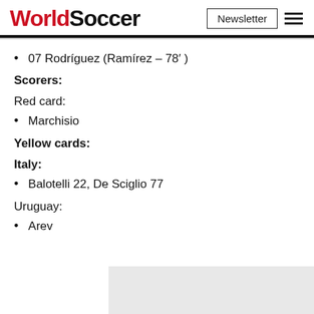WorldSoccer
07 Rodríguez (Ramírez – 78' )
Scorers:
Red card:
Marchisio
Yellow cards:
Italy:
Balotelli 22, De Sciglio 77
Uruguay:
Arev